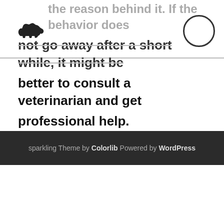reason, observe him or her for a while to figure out the reason behind it. If the behavior does not go away after a short while, it might be better to consult a veterinarian and get professional help.
sparkling Theme by Colorlib Powered by WordPress